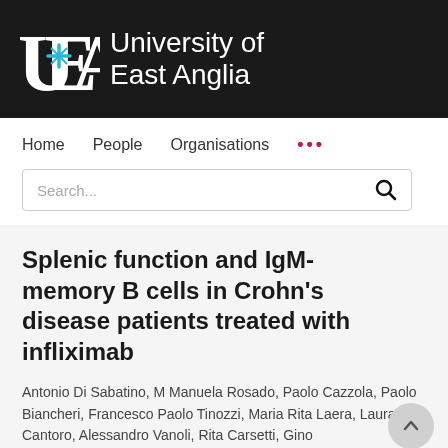[Figure (logo): University of East Anglia logo with UEA letters and blue star emblem on dark background, with 'University of East Anglia' text in white]
Home   People   Organisations   ...
Search...
Splenic function and IgM-memory B cells in Crohn's disease patients treated with infliximab
Antonio Di Sabatino, M Manuela Rosado, Paolo Cazzola, Paolo Biancheri, Francesco Paolo Tinozzi, Maria Rita Laera, Laura Cantoro, Alessandro Vanoli, Rita Carsetti, Gino